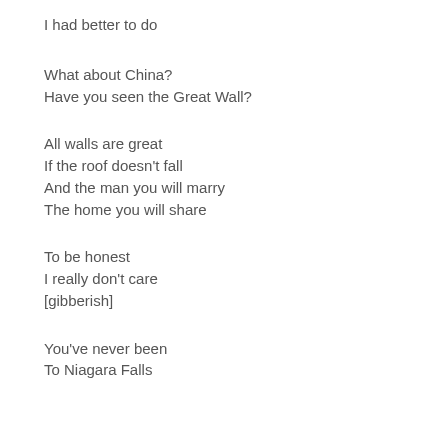I had better to do
What about China?
Have you seen the Great Wall?
All walls are great
If the roof doesn't fall
And the man you will marry
The home you will share
To be honest
I really don't care
[gibberish]
You've never been
To Niagara Falls